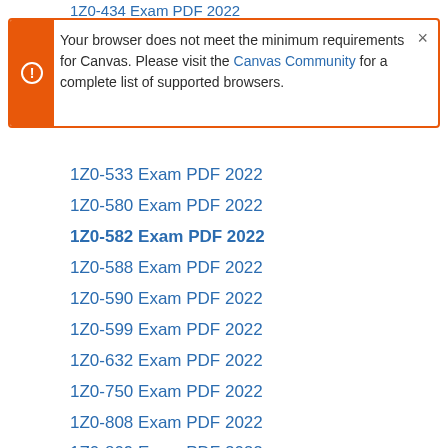1Z0-434 Exam PDF 2022
Your browser does not meet the minimum requirements for Canvas. Please visit the Canvas Community for a complete list of supported browsers.
1Z0-533 Exam PDF 2022
1Z0-580 Exam PDF 2022
1Z0-582 Exam PDF 2022
1Z0-588 Exam PDF 2022
1Z0-590 Exam PDF 2022
1Z0-599 Exam PDF 2022
1Z0-632 Exam PDF 2022
1Z0-750 Exam PDF 2022
1Z0-808 Exam PDF 2022
1Z0-809 Exam PDF 2022
1Z0-811 Exam PDF 2022
1Z0-819 Exam PDF 2022
1Z0-821 Exam PDF 2022
1Z0-822 Exam PDF 2022